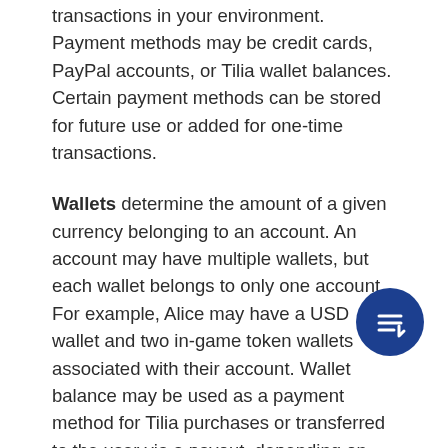transactions in your environment. Payment methods may be credit cards, PayPal accounts, or Tilia wallet balances. Certain payment methods can be stored for future use or added for one-time transactions.
Wallets determine the amount of a given currency belonging to an account. An account may have multiple wallets, but each wallet belongs to only one account. For example, Alice may have a USD wallet and two in-game token wallets associated with their account. Wallet balance may be used as a payment method for Tilia purchases or transferred to the user via a payout, depending on your business rules.
Wallet properties
Wallets are automatically created for an account when a user is registered. The number of wallets and the wallet currency are configured for the integrator by Tilia.